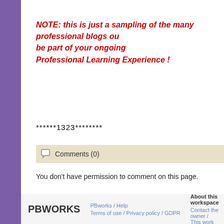NOTE: this is just a sampling of the many professional blogs ou be part of your ongoing Professional Learning Experience !
******1323********
Comments (0)
You don't have permission to comment on this page.
PBworks / Help  Terms of use / Privacy policy / GDPR  About this workspace  Contact the owner / This work